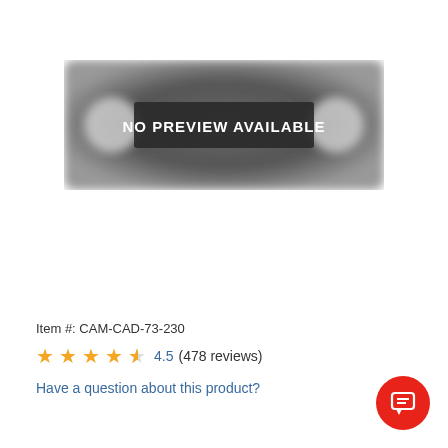[Figure (other): Blurred dark product image placeholder with 'NO PREVIEW AVAILABLE' text overlay in white on dark background]
Item #: CAM-CAD-73-230
4.5 (478 reviews)
Have a question about this product?